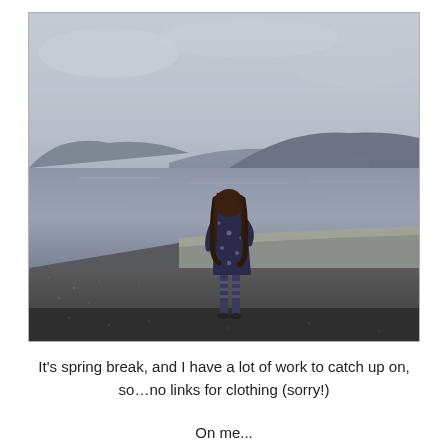[Figure (photo): A young girl with long hair wearing a dark dress with star patterns and striped leggings stands with her back to the camera on a waterfront path/seawall, looking out at a calm bay or inlet with mountains/hills in the background under an overcast sky.]
It's spring break, and I have a lot of work to catch up on, so…no links for clothing (sorry!)
On me...